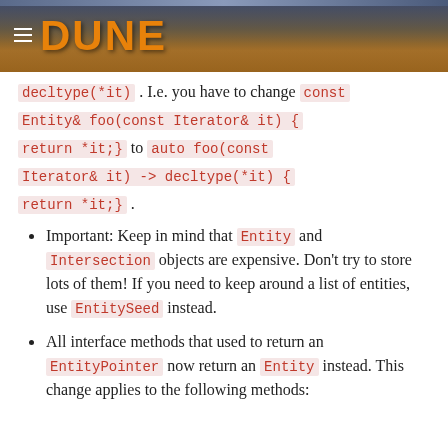DUNE
decltype(*it) . I.e. you have to change const Entity& foo(const Iterator& it) { return *it;} to auto foo(const Iterator& it) -> decltype(*it) { return *it;} .
Important: Keep in mind that Entity and Intersection objects are expensive. Don't try to store lots of them! If you need to keep around a list of entities, use EntitySeed instead.
All interface methods that used to return an EntityPointer now return an Entity instead. This change applies to the following methods: